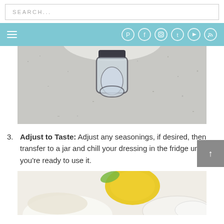SEARCH...
[Figure (screenshot): Navigation bar with hamburger menu and social media icons (Pinterest, Facebook, Instagram, Twitter, YouTube, RSS) on teal background]
[Figure (photo): Close-up photo of a blender lid/cap on a concrete surface, top-down view]
Adjust to Taste: Adjust any seasonings, if desired, then transfer to a jar and chill your dressing in the fridge until you’re ready to use it.
[Figure (photo): Close-up photo of a lemon and salad dressing ingredients on a white surface]